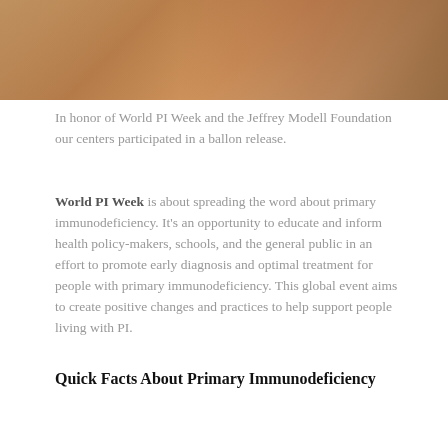[Figure (photo): Photo of people at a table, warm orange/amber tones, partial view of faces and hands]
In honor of World PI Week and the Jeffrey Modell Foundation our centers participated in a ballon release.
World PI Week is about spreading the word about primary immunodeficiency. It's an opportunity to educate and inform health policy-makers, schools, and the general public in an effort to promote early diagnosis and optimal treatment for people with primary immunodeficiency. This global event aims to create positive changes and practices to help support people living with PI.
Quick Facts About Primary Immunodeficiency
[Figure (illustration): Medical illustration showing immune cells/blood cells, pink and red spherical cells against a striped background]